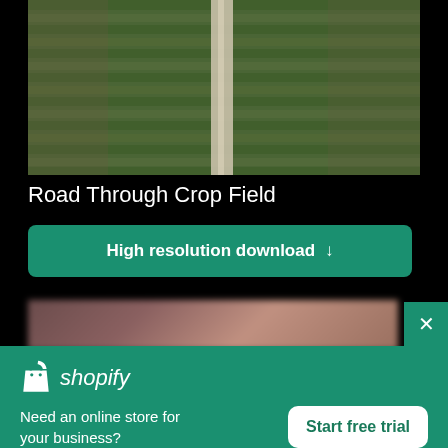[Figure (photo): Aerial drone view of a road cutting through a crop field with green rows of crops on either side]
Road Through Crop Field
High resolution download ↓
[Figure (photo): Blurred partial image below the main photo]
[Figure (logo): Shopify logo with shopping bag icon and italic shopify text]
Need an online store for your business?
Start free trial